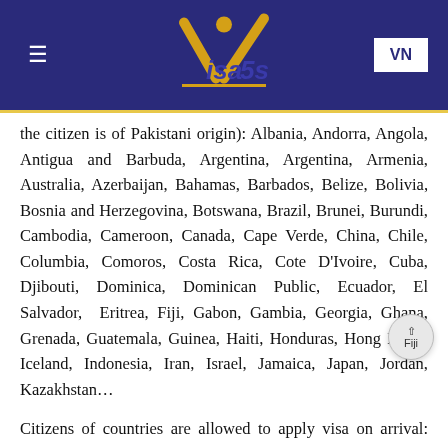[Figure (logo): Visa5s logo with gold checkmark/person icon and blue text on dark blue header background]
the citizen is of Pakistani origin): Albania, Andorra, Angola, Antigua and Barbuda, Argentina, Argentina, Armenia, Australia, Azerbaijan, Bahamas, Barbados, Belize, Bolivia, Bosnia and Herzegovina, Botswana, Brazil, Brunei, Burundi, Cambodia, Cameroon, Canada, Cape Verde, China, Chile, Columbia, Comoros, Costa Rica, Cote D'Ivoire, Cuba, Djibouti, Dominica, Dominican Public, Ecuador, El Salvador, Eritrea, Fiji, Gabon, Gambia, Georgia, Ghana, Grenada, Guatemala, Guinea, Haiti, Honduras, Hong Kong, Iceland, Indonesia, Iran, Israel, Jamaica, Japan, Jordan, Kazakhstan…
Citizens of countries are allowed to apply visa on arrival: Andorra, Bhutan, Bulgaria, China, Cyprus, Ethiopia, Fiji, India, Kazakhstan, Latvia, Lithuania, Maldives, Malta, Mauritius, Papua New Guinea, Romania, San Marino,